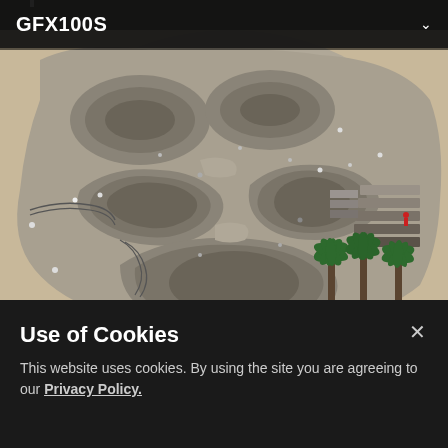GFX100S
[Figure (photo): Aerial view of a large concrete skate park with organic bowl shapes, palm trees in the center, and numerous skaters and visitors visible throughout the facility. Sandy ground surrounds the park.]
© Dinesh Boaz
Use of Cookies
This website uses cookies. By using the site you are agreeing to our Privacy Policy.